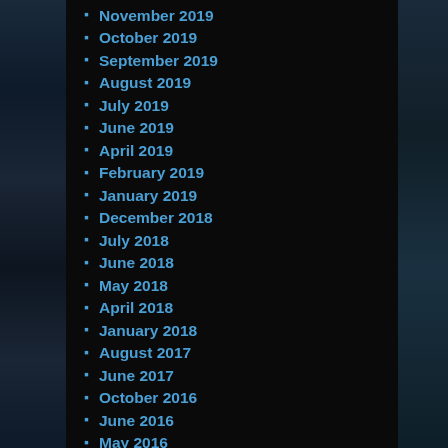November 2019
October 2019
September 2019
August 2019
July 2019
June 2019
April 2019
February 2019
January 2019
December 2018
July 2018
June 2018
May 2018
April 2018
January 2018
August 2017
June 2017
October 2016
June 2016
May 2016
April 2016